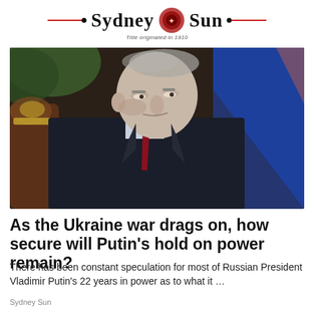[Figure (logo): Sydney Sun newspaper masthead logo with red rules, decorative emblem, and tagline 'Title originated in 1910']
[Figure (photo): Vladimir Putin seated in profile view, wearing a dark suit and red tie, against a background with a blue/orange flag and green foliage]
As the Ukraine war drags on, how secure will Putin's hold on power remain?
There has been constant speculation for most of Russian President Vladimir Putin's 22 years in power as to what it …
Sydney Sun